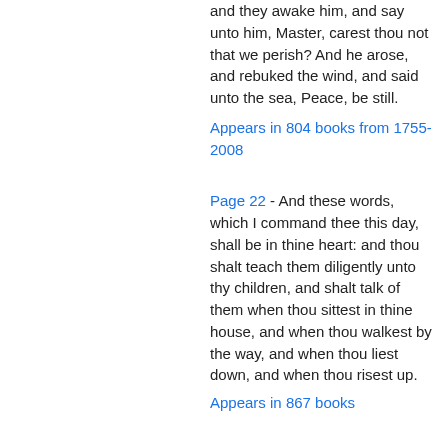and they awake him, and say unto him, Master, carest thou not that we perish? And he arose, and rebuked the wind, and said unto the sea, Peace, be still.
Appears in 804 books from 1755-2008
Page 22 - And these words, which I command thee this day, shall be in thine heart: and thou shalt teach them diligently unto thy children, and shalt talk of them when thou sittest in thine house, and when thou walkest by the way, and when thou liest down, and when thou risest up.
Appears in 867 books